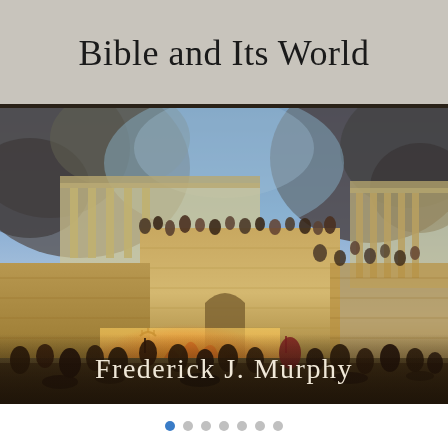Bible and Its World
[Figure (illustration): Historical painting depicting the destruction of the Temple in Jerusalem, showing crowds of people on and around massive stone walls with fire, smoke, and chaos. Classical architectural elements including columns are visible.]
Frederick J. Murphy
[Figure (other): Navigation dots row: one filled blue dot followed by six grey dots]